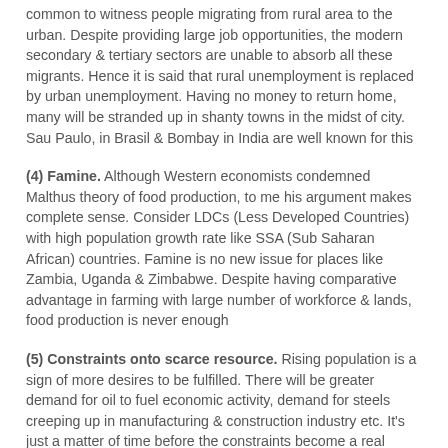common to witness people migrating from rural area to the urban. Despite providing large job opportunities, the modern secondary & tertiary sectors are unable to absorb all these migrants. Hence it is said that rural unemployment is replaced by urban unemployment. Having no money to return home, many will be stranded up in shanty towns in the midst of city. Sau Paulo, in Brasil & Bombay in India are well known for this
(4) Famine. Although Western economists condemned Malthus theory of food production, to me his argument makes complete sense. Consider LDCs (Less Developed Countries) with high population growth rate like SSA (Sub Saharan African) countries. Famine is no new issue for places like Zambia, Uganda & Zimbabwe. Despite having comparative advantage in farming with large number of workforce & lands, food production is never enough
(5) Constraints onto scarce resource. Rising population is a sign of more desires to be fulfilled. There will be greater demand for oil to fuel economic activity, demand for steels creeping up in manufacturing & construction industry etc. It's just a matter of time before the constraints become a real threat...